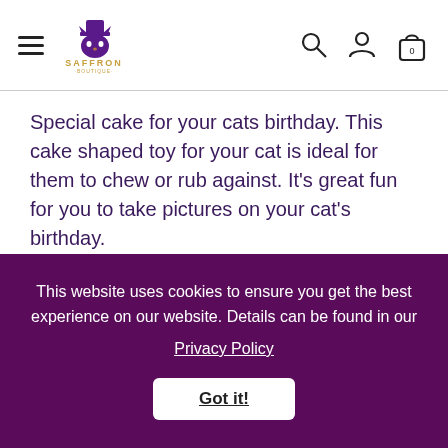[Figure (logo): Saffron Boutique logo with cat wearing top hat and gold text]
Special cake for your cats birthday. This cake shaped toy for your cat is ideal for them to chew or rub against. It's great fun for you to take pictures on your cat's birthday.
These toys are made by Natural Toys 4 Cats. They designed toys to help keep playtime safe, eco-friendly
This website uses cookies to ensure you get the best experience on our website. Details can be found in our Privacy Policy
Got it!